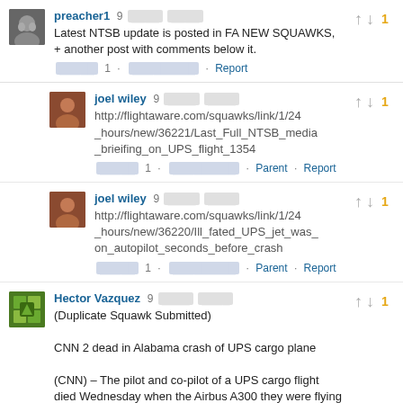preacher1 · 9 [time ago]
Latest NTSB update is posted in FA NEW SQUAWKS, + another post with comments below it.
[actions] · Report
joel wiley · 9 [time ago]
http://flightaware.com/squawks/link/1/24_hours/new/36221/Last_Full_NTSB_media_brieifing_on_UPS_flight_1354
[actions] · Parent · Report
joel wiley · 9 [time ago]
http://flightaware.com/squawks/link/1/24_hours/new/36220/Ill_fated_UPS_jet_was_on_autopilot_seconds_before_crash
[actions] · Parent · Report
Hector Vazquez · 9 [time ago]
(Duplicate Squawk Submitted)
CNN 2 dead in Alabama crash of UPS cargo plane
(CNN) – The pilot and co-pilot of a UPS cargo flight died Wednesday when the Airbus A300 they were flying crashed on approach to the Birmingham, Alabama, airport. Mayor William